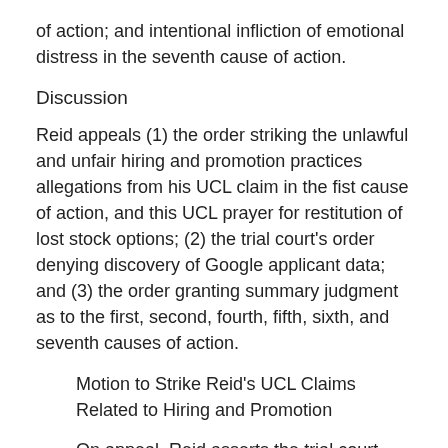of action; and intentional infliction of emotional distress in the seventh cause of action.
Discussion
Reid appeals (1) the order striking the unlawful and unfair hiring and promotion practices allegations from his UCL claim in the fist cause of action, and this UCL prayer for restitution of lost stock options; (2) the trial court's order denying discovery of Google applicant data; and (3) the order granting summary judgment as to the first, second, fourth, fifth, sixth, and seventh causes of action.
Motion to Strike Reid's UCL Claims Related to Hiring and Promotion
On appeal, Reid asserts the trial court erred by applying the provisions of Proposition 64 retroactively, and striking the UCL claims related to unfair hiring and promotion from